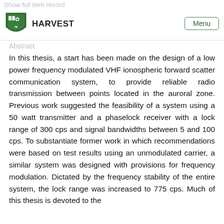HARVEST   Menu
Abstract
In this thesis, a start has been made on the design of a low power frequency modulated VHF ionospheric forward scatter communication system, to provide reliable radio transmission between points located in the auroral zone. Previous work suggested the feasibility of a system using a 50 watt transmitter and a phaselock receiver with a lock range of 300 cps and signal bandwidths between 5 and 100 cps. To substantiate former work in which recommendations were based on test results using an unmodulated carrier, a similar system was designed with provisions for frequency modulation. Dictated by the frequency stability of the entire system, the lock range was increased to 775 cps. Much of this thesis is devoted to the